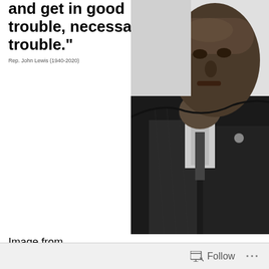[Figure (photo): Black and white photograph of Congressman John Lewis in a suit with a pin, looking serious. Partial quote text visible at top left: 'and get in good trouble, necessary trouble.' with attribution 'Rep. John Lewis (1940-2020)']
Image from
https://www.dogonews.com/2020/7/21/reflecting-on-the-life-and-legacy-of-civil-rights-icon-john-lewis/page/3
Congressman John Lewis died just over a year ago (July 17th, 2020). His powerful legacy lives on as does the vision he shared up until the day of his death. May we continue to hold up the light of nonviolence and get into some good trouble, necessary trouble!
Follow ...